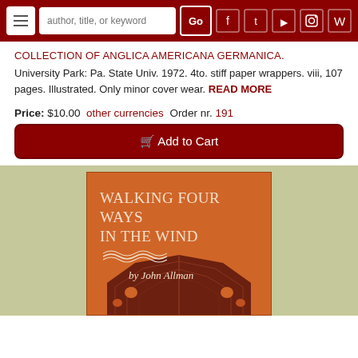Navigation bar with hamburger menu, search box, Go button, and social icons
COLLECTION OF ANGLICA AMERICANA GERMANICA.
University Park: Pa. State Univ. 1972. 4to. stiff paper wrappers. viii, 107 pages. Illustrated. Only minor cover wear. READ MORE
Price: $10.00  other currencies  Order nr. 191
Add to Cart
[Figure (photo): Book cover of 'Walking Four Ways in the Wind' by John Allman, orange cover with decorative wind lines and dark brown abstract artwork at the bottom]